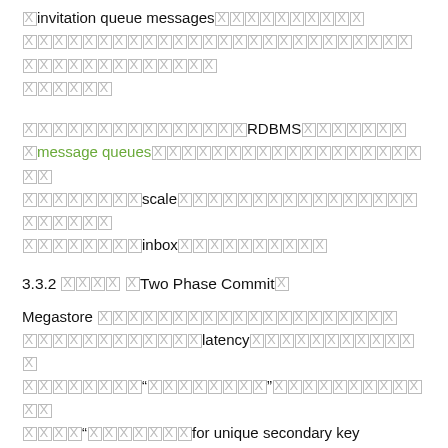[CJK]invitation queue messages[CJK][CJK][CJK][CJK][CJK][CJK][CJK][CJK][CJK][CJK][CJK][CJK][CJK][CJK][CJK][CJK][CJK][CJK][CJK][CJK][CJK][CJK][CJK][CJK][CJK][CJK][CJK][CJK][CJK][CJK][CJK][CJK][CJK][CJK][CJK][CJK][CJK][CJK][CJK]
[CJK]RDBMS[CJK] message queues[CJK] scale[CJK] inbox[CJK]
3.3.2 [CJK] [Two Phase Commit]
Megastore [CJK] latency[CJK] "[CJK]" [CJK] "[CJK] for unique secondary key enforcement[CJK]"[CJK]
3.4  [CJK] [Other Features]